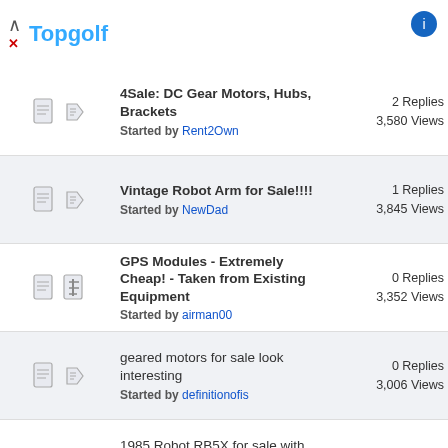Topgolf
4Sale: DC Gear Motors, Hubs, Brackets — Started by Rent2Own — 2 Replies, 3,580 Views
Vintage Robot Arm for Sale!!!! — Started by NewDad — 1 Replies, 3,845 Views
GPS Modules - Extremely Cheap! - Taken from Existing Equipment — Started by airman00 — 0 Replies, 3,352 Views
geared motors for sale look interesting — Started by definitionofis — 0 Replies, 3,006 Views
1985 Robot RB5X for sale with software/manuals — Started by PrizedRobot — 0 Replies, 4,350 Views
FOR SALE: Heatkit Hero 1 — Started by dbemowsk — 2 Replies, 4,917 Views
Solar tracking robot for sale — Started by Razor Concepts — 1 Replies, 4,453 Views
TOPO Androbot and RB5X General Robotics robots for sale on ebay! — Started by jamiep — 0 Replies, 5,645 Views